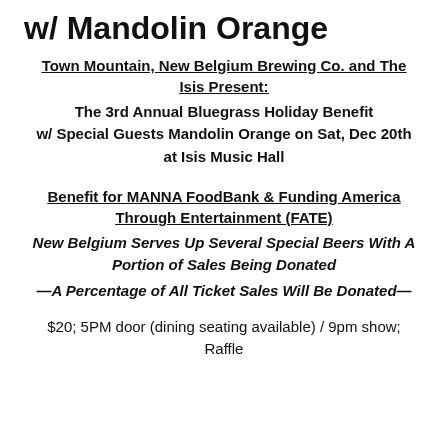w/ Mandolin Orange
Town Mountain, New Belgium Brewing Co. and The Isis Present:
The 3rd Annual Bluegrass Holiday Benefit w/ Special Guests Mandolin Orange on Sat, Dec 20th at Isis Music Hall
Benefit for MANNA FoodBank & Funding America Through Entertainment (FATE)
New Belgium Serves Up Several Special Beers With A Portion of Sales Being Donated
—A Percentage of All Ticket Sales Will Be Donated—
$20; 5PM door (dining seating available) / 9pm show;
Raffle